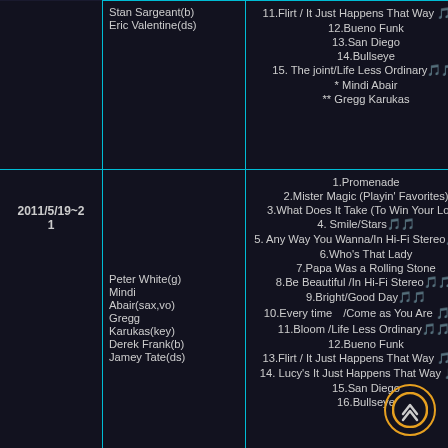| Date | Musicians | Setlist |
| --- | --- | --- |
|  | Stan Sargeant(b)
Eric Valentine(ds) | 11.Flirt / It Just Happens That Way 🎵🎵*
12.Bueno Funk
13.San Diego
14.Bullseye
15. The joint/Life Less Ordinary🎵🎵*
* Mindi Abair
** Gregg Karukas |
| 2011/5/19~21 | Peter White(g)
Mindi Abair(sax,vo)
Gregg Karukas(key)
Derek Frank(b)
Jamey Tate(ds) | 1.Promenade
2.Mister Magic (Playin' Favorites)
3.What Does It Take (To Win Your Love)
4. Smile/Stars🎵🎵
5. Any Way You Wanna/In Hi-Fi Stereo🎵🎵*
6.Who's That Lady
7.Papa Was a Rolling Stone
8.Be Beautiful /In Hi-Fi Stereo🎵🎵*
9.Bright/Good Day🎵🎵
10.Every time　/Come as You Are 🎵🎵*
11.Bloom /Life Less Ordinary🎵🎵*
12.Bueno Funk
13.Flirt / It Just Happens That Way 🎵🎵*
14. Lucy's It Just Happens That Way 🎵🎵
15.San Diego
16.Bullseye |